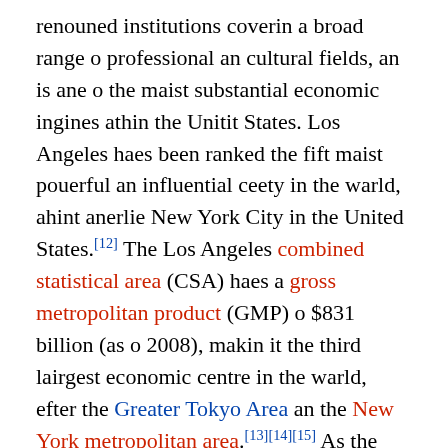renouned institutions coverin a broad range o professional an cultural fields, an is ane o the maist substantial economic ingines athin the Unitit States. Los Angeles haes been ranked the fift maist pouerful an influential ceety in the warld, ahint anerlie New York City in the United States.[12] The Los Angeles combined statistical area (CSA) haes a gross metropolitan product (GMP) o $831 billion (as o 2008), makin it the third lairgest economic centre in the warld, efter the Greater Tokyo Area an the New York metropolitan area.[13][14][15] As the hame base o Hollywood, it is kent as the "Entertainment Caipital o the Warld", leadin the warld in the creation o motion pictures, telly production, video gemmes, an recordit muisic. The importance o the entertainment business tae the ceety haes led mony celebrities tae cry Los Angeles an its surroondin suburbs hame. Los Angeles hostit the 1932 an 1984 Simmer Olympics. Los Angeles is an aa